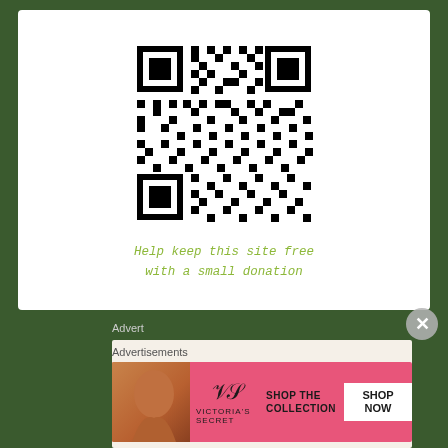[Figure (other): QR code for donation with text 'Help keep this site free with a small donation' in olive/yellow-green italic monospace font]
Advert
[Figure (other): Advertisement banner with cream/beige background showing text 'Professionally designed sites in less' in serif font]
Advertisements
[Figure (other): Victoria's Secret advertisement banner with pink background showing model, VS logo, 'SHOP THE COLLECTION' text, and 'SHOP NOW' button]